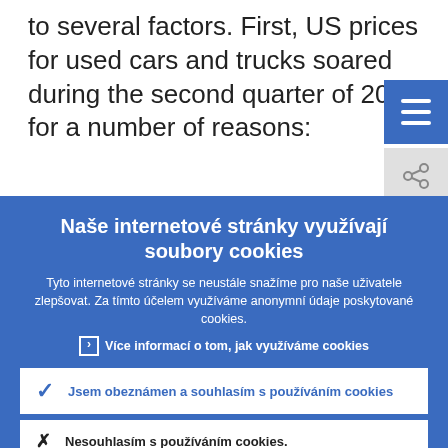to several factors. First, US prices for used cars and trucks soared during the second quarter of 2021 for a number of reasons:
Naše internetové stránky využívají soubory cookies
Tyto internetové stránky se neustále snažíme pro naše uživatele zlepšovat. Za tímto účelem využíváme anonymní údaje poskytované cookies.
› Více informací o tom, jak využíváme cookies
✓ Jsem obeznámen a souhlasím s používáním cookies
✕ Nesouhlasím s používáním cookies.